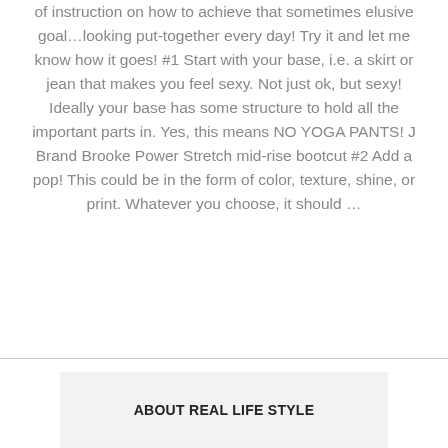of instruction on how to achieve that sometimes elusive goal…looking put-together every day! Try it and let me know how it goes! #1 Start with your base, i.e. a skirt or jean that makes you feel sexy. Not just ok, but sexy! Ideally your base has some structure to hold all the important parts in. Yes, this means NO YOGA PANTS! J Brand Brooke Power Stretch mid-rise bootcut #2 Add a pop! This could be in the form of color, texture, shine, or print. Whatever you choose, it should …
ABOUT REAL LIFE STYLE